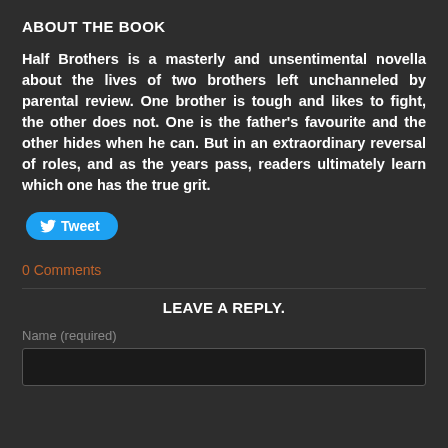ABOUT THE BOOK
Half Brothers is a masterly and unsentimental novella about the lives of two brothers left unchanneled by parental review. One brother is tough and likes to fight, the other does not. One is the father's favourite and the other hides when he can. But in an extraordinary reversal of roles, and as the years pass, readers ultimately learn which one has the true grit.
[Figure (other): Tweet button with Twitter bird icon]
0 Comments
LEAVE A REPLY.
Name (required)